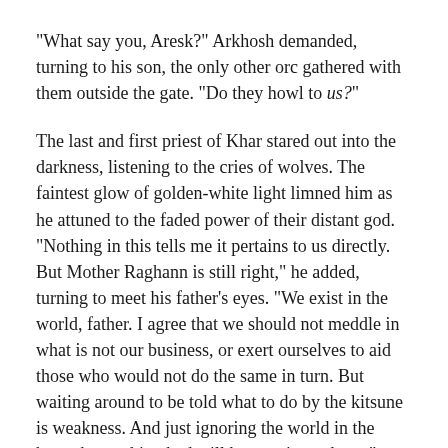“What say you, Aresk?” Arkhosh demanded, turning to his son, the only other orc gathered with them outside the gate. “Do they howl to us?”
The last and first priest of Khar stared out into the darkness, listening to the cries of wolves. The faintest glow of golden-white light limned him as he attuned to the faded power of their distant god. “Nothing in this tells me it pertains to us directly. But Mother Raghann is still right,” he added, turning to meet his father’s eyes. “We exist in the world, father. I agree that we should not meddle in what is not our business, or exert ourselves to aid those who would not do the same in turn. But waiting around to be told what to do by the kitsune is weakness. And just ignoring the world in the hope that nothing bad will happen is madness.”
Both of them bared tusks at him. Very recently, Aresk would